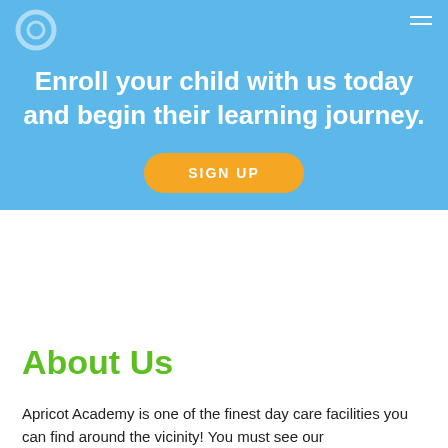[Figure (logo): Circular logo icon in the top-left of the blue hero section]
Enroll your child with us today and begin their learning journey.
SIGN UP
About Us
Apricot Academy is one of the finest day care facilities you can find around the vicinity! You must see our